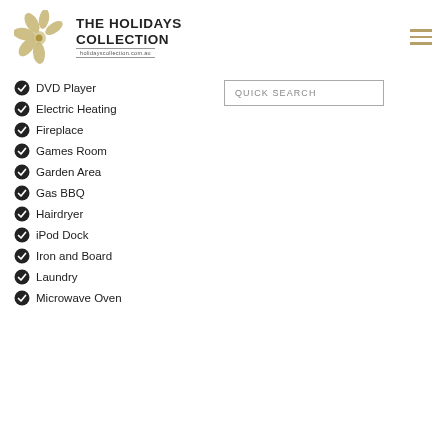[Figure (logo): The Holidays Collection logo with floral motif and website holidayscollection.com.au]
QUICK SEARCH
DVD Player
Electric Heating
Fireplace
Games Room
Garden Area
Gas BBQ
Hairdryer
iPod Dock
Iron and Board
Laundry
Microwave Oven